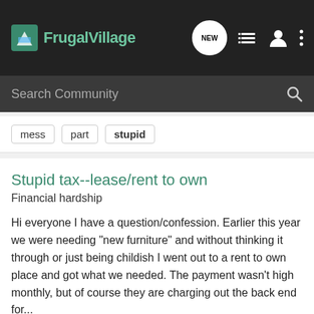[Figure (screenshot): FrugalVillage website navigation bar with logo, search bar, and icons]
mess  part  stupid
Stupid tax--lease/rent to own
Financial hardship
Hi everyone I have a question/confession. Earlier this year we were needing "new furniture" and without thinking it through or just being childish I went out to a rent to own place and got what we needed. The payment wasn't high monthly, but of course they are charging out the back end for...
10  2K
Jeanna · Sep 10, 2010